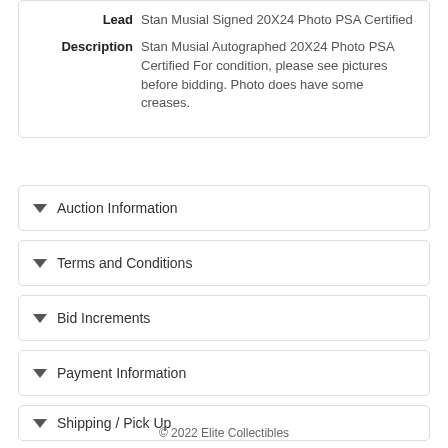Lead: Stan Musial Signed 20X24 Photo PSA Certified
Description: Stan Musial Autographed 20X24 Photo PSA Certified For condition, please see pictures before bidding. Photo does have some creases.
Auction Information
Terms and Conditions
Bid Increments
Payment Information
Shipping / Pick Up
© 2022 Elite Collectibles